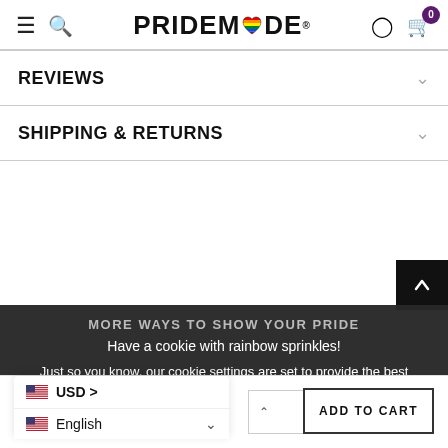PRIDEMODE (logo with rainbow heart)
REVIEWS
SHIPPING & RETURNS
MORE WAYS TO SHOW YOUR PRIDE
Have a cookie with rainbow sprinkles!
Just so you know, our cookie settings are set to provide the best experience. Please click Accept to continue.
PRIVACY POLICY   ACCEPT ✓
USD >
English
ADD TO CART